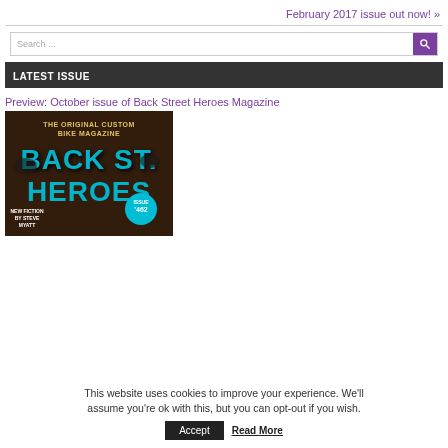February 2017 issue out now! »
Search ...
LATEST ISSUE
Preview: October issue of Back Street Heroes Magazine
[Figure (photo): Cover of Back Street Heroes Magazine - The Original Custom Bike Magazine, Issue 462, with teal/blue styled lettering on dark background]
This website uses cookies to improve your experience. We'll assume you're ok with this, but you can opt-out if you wish.
Accept   Read More